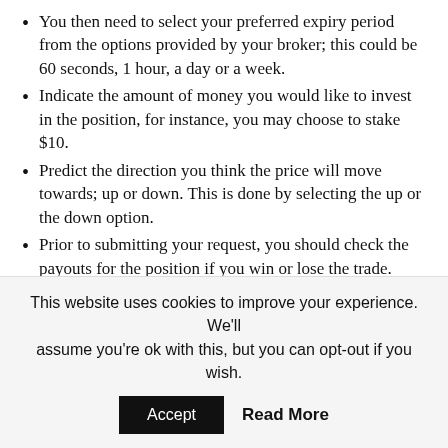You then need to select your preferred expiry period from the options provided by your broker; this could be 60 seconds, 1 hour, a day or a week.
Indicate the amount of money you would like to invest in the position, for instance, you may choose to stake $10.
Predict the direction you think the price will move towards; up or down. This is done by selecting the up or the down option.
Prior to submitting your request, you should check the payouts for the position if you win or lose the trade.
Now click on the apply button to place the trade.
While trading binary options, it is not possible to lose more money than you have staked in the open position(s). Again, it is not possible to make more profit than the indicated payout percentage on any trade you have placed. For most brokers
This website uses cookies to improve your experience. We'll assume you're ok with this, but you can opt-out if you wish. Accept Read More